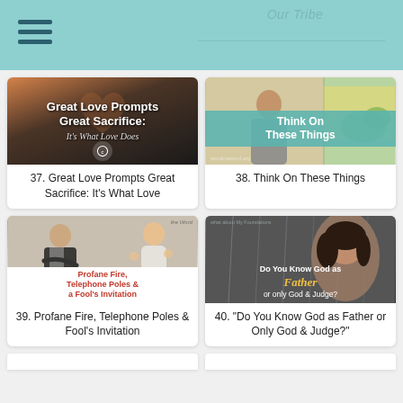Our Tribe
[Figure (photo): Thumbnail image for article 37 - hands forming heart shape with sunset background, title Great Love Prompts Great Sacrifice: Its What Love Does]
37. Great Love Prompts Great Sacrifice: It's What Love
[Figure (photo): Thumbnail image for article 38 - woman looking out window with teal overlay text Think On These Things]
38. Think On These Things
[Figure (photo): Thumbnail image for article 39 - couple arguing, with text overlay Profane Fire, Telephone Poles & a Fool's Invitation]
39. Profane Fire, Telephone Poles & Fool's Invitation
[Figure (photo): Thumbnail image for article 40 - woman looking through rainy window with text Do You Know God as Father or only God & Judge?]
40. "Do You Know God as Father or Only God & Judge?"